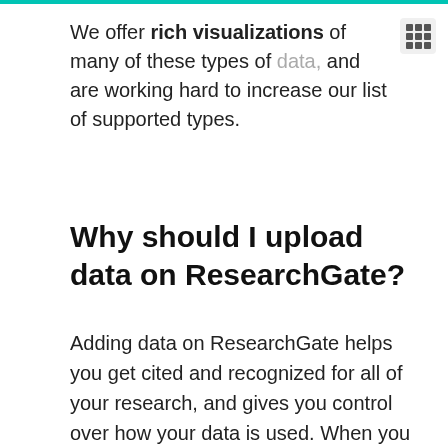We offer rich visualizations of many of these types of data, and are working hard to increase our list of supported types.
Why should I upload data on ResearchGate?
Adding data on ResearchGate helps you get cited and recognized for all of your research, and gives you control over how your data is used. When you add data, you can get a free DOI and license, along with stats on how often your work is being read and cited, and by